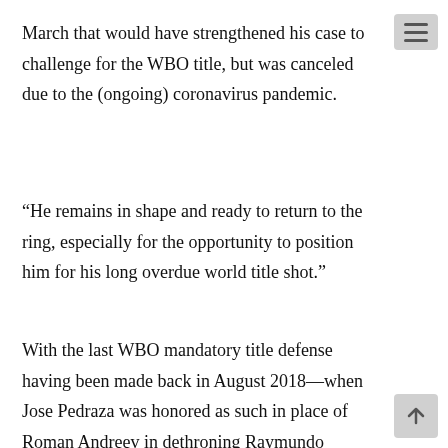March that would have strengthened his case to challenge for the WBO title, but was canceled due to the (ongoing) coronavirus pandemic.
“He remains in shape and ready to return to the ring, especially for the opportunity to position him for his long overdue world title shot.”
With the last WBO mandatory title defense having been made back in August 2018—when Jose Pedraza was honored as such in place of Roman Andreev in dethroning Raymundo Beltran—the Puerto Rico-based sanctioning body would be next in rotation. Lomachenko was